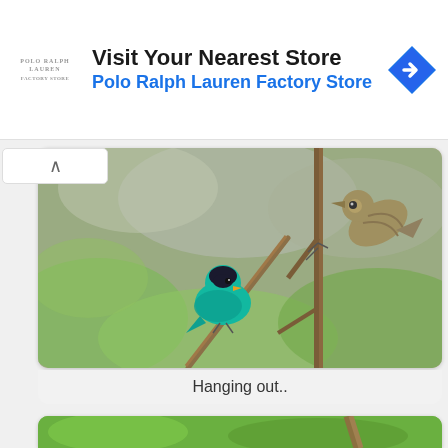[Figure (infographic): Advertisement banner for Polo Ralph Lauren Factory Store with logo, text 'Visit Your Nearest Store' and a blue navigation arrow icon]
Visit Your Nearest Store
Polo Ralph Lauren Factory Store
[Figure (photo): Two birds on branches - a bright teal/turquoise bird perched on a thin branch on the left, and a brown bird climbing a vertical branch on the right, with blurred green and grey bokeh background]
Hanging out..
[Figure (photo): Partial view of another bird photo with bright green bokeh background and a branch visible]